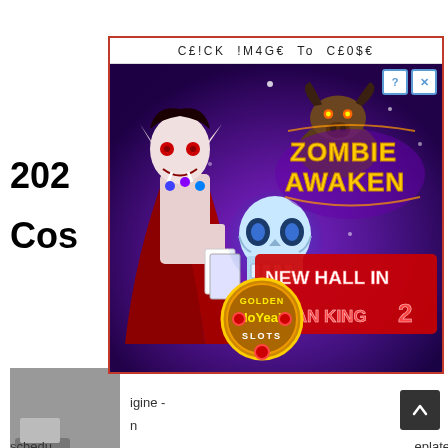202...
Cos...
[Figure (illustration): Zombie Awaken / New Hall in Ocean King 2 / Golden Ho Yeah Slots casino game advertisement overlay with vampire, bull, and skull characters on purple background. Header reads: CE!CK !M4GE To C£0$€]
...igine - n scheduled...eplate regard...will probably...V. It is equiva...ney may be...d up being t... Escala...
[Figure (screenshot): Dark scroll-to-top button with upward arrow in bottom right corner]